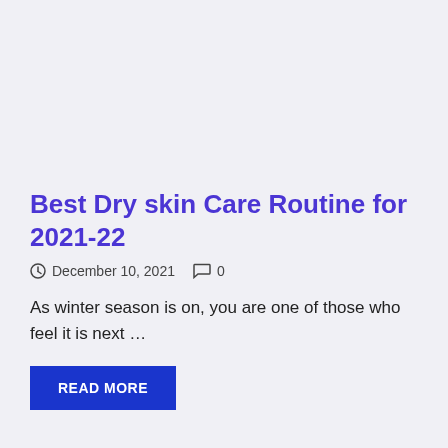Best Dry skin Care Routine for 2021-22
December 10, 2021   0
As winter season is on, you are one of those who feel it is next …
READ MORE